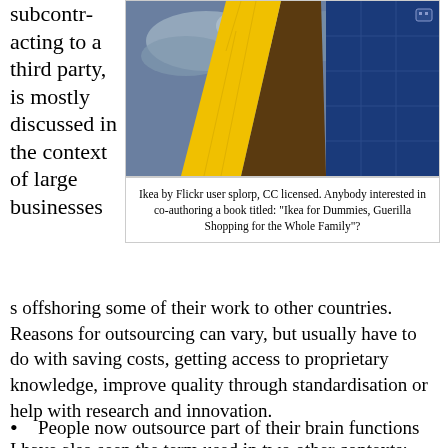subcontracting to a third party, is mostly discussed in the context of large businesses offshoring some of their work to other countries. Reasons for outsourcing can vary, but usually have to do with saving costs, getting access to proprietary knowledge, improve quality through standardisation or help with research and innovation.
[Figure (photo): Exterior of an IKEA building showing yellow, brown, and blue panels against a cloudy sky.]
Ikea by Flickr user splorp, CC licensed. Anybody interested in co-authoring a book titled: "Ikea for Dummies, Guerilla Shopping for the Whole Family"?
I have also seen the term used in two other contexts:
People now outsource part of their brain functions